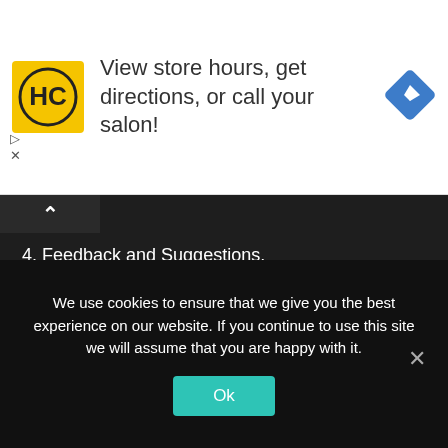[Figure (logo): HC salon logo in yellow circle with black border on golden square background, with a blue diamond navigation icon on the right]
View store hours, get directions, or call your salon!
4. Feedback and Suggestions.
We will take care of your query as soon as possible.
Recent Posts
We use cookies to ensure that we give you the best experience on our website. If you continue to use this site we will assume that you are happy with it.